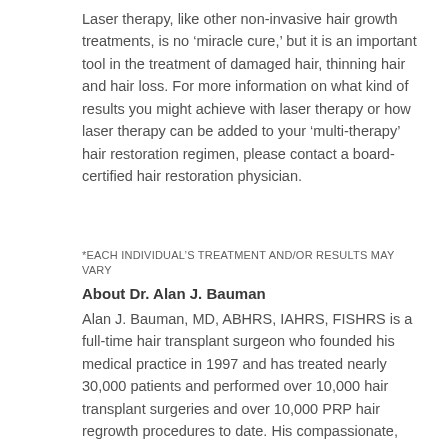Laser therapy, like other non-invasive hair growth treatments, is no ‘miracle cure,’ but it is an important tool in the treatment of damaged hair, thinning hair and hair loss. For more information on what kind of results you might achieve with laser therapy or how laser therapy can be added to your ‘multi-therapy’ hair restoration regimen, please contact a board-certified hair restoration physician.
*EACH INDIVIDUAL’S TREATMENT AND/OR RESULTS MAY VARY
About Dr. Alan J. Bauman
Alan J. Bauman, MD, ABHRS, IAHRS, FISHRS is a full-time hair transplant surgeon who founded his medical practice in 1997 and has treated nearly 30,000 patients and performed over 10,000 hair transplant surgeries and over 10,000 PRP hair regrowth procedures to date. His compassionate, patient-centered philosophy and individualized artistic approach to protecting, enhancing, and restoring the appearance and health of the hair and scalp is what sets